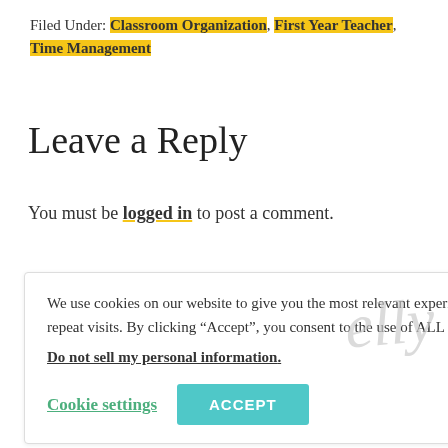Filed Under: Classroom Organization, First Year Teacher, Time Management
Leave a Reply
You must be logged in to post a comment.
We use cookies on our website to give you the most relevant experience by remembering your preferences and repeat visits. By clicking “Accept”, you consent to the use of ALL the cookies.
Do not sell my personal information.
Cookie settings  ACCEPT